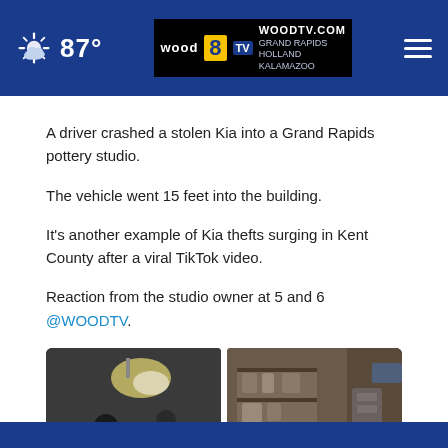87° WOODTV.COM WOOD 8 TV GRAND RAPIDS HOLLAND KALAMAZOO
A driver crashed a stolen Kia into a Grand Rapids pottery studio.
The vehicle went 15 feet into the building.
It's another example of Kia thefts surging in Kent County after a viral TikTok video.
Reaction from the studio owner at 5 and 6 @WOODTV.
[Figure (photo): Two side-by-side photos showing interior damage of a pottery studio after a car crash. Left photo shows people standing inside a darkened damaged room with debris. Right photo shows damaged shelving and equipment inside the studio.]